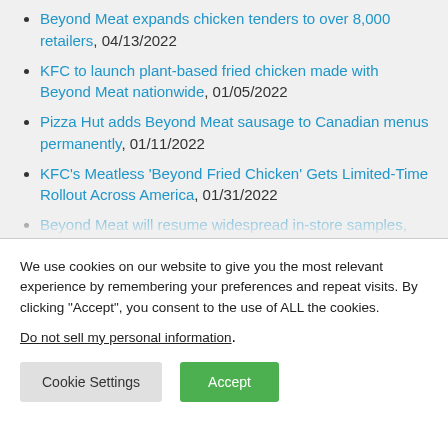Beyond Meat expands chicken tenders to over 8,000 retailers, 04/13/2022
KFC to launch plant-based fried chicken made with Beyond Meat nationwide, 01/05/2022
Pizza Hut adds Beyond Meat sausage to Canadian menus permanently, 01/11/2022
KFC's Meatless 'Beyond Fried Chicken' Gets Limited-Time Rollout Across America, 01/31/2022
Beyond Meat will resume widespread in-store samples, which the company says is key to a
We use cookies on our website to give you the most relevant experience by remembering your preferences and repeat visits. By clicking “Accept”, you consent to the use of ALL the cookies.
Do not sell my personal information.